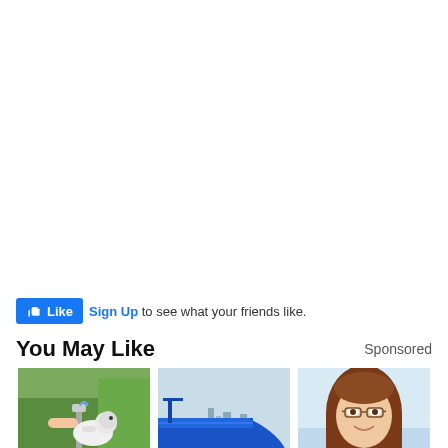[Figure (other): Large white/blank space at top of page]
Like  Sign Up to see what your friends like.
You May Like
Sponsored
[Figure (photo): Three thumbnail photos: a dog at a water fountain in a park, a large blue ship/cargo vessel near a city skyline, and a smiling woman with glasses and brown hair against a light background]